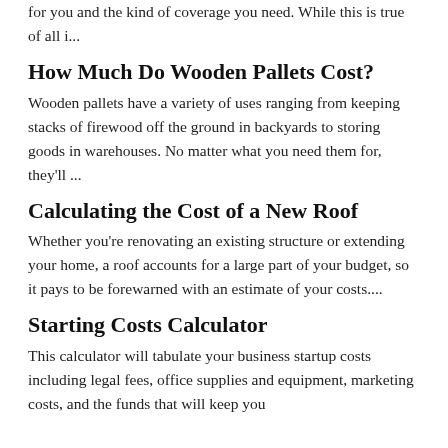for you and the kind of coverage you need. While this is true of all i...
How Much Do Wooden Pallets Cost?
Wooden pallets have a variety of uses ranging from keeping stacks of firewood off the ground in backyards to storing goods in warehouses. No matter what you need them for, they'll ...
Calculating the Cost of a New Roof
Whether you're renovating an existing structure or extending your home, a roof accounts for a large part of your budget, so it pays to be forewarned with an estimate of your costs....
Starting Costs Calculator
This calculator will tabulate your business startup costs including legal fees, office supplies and equipment, marketing costs, and the funds that will keep you